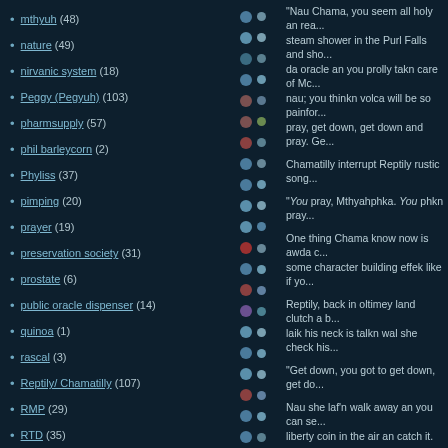mthyuh (48)
nature (49)
nirvanic system (18)
Peggy (Pegyuh) (103)
pharmsupply (57)
phil barleycorn (2)
Phyliss (37)
pimping (20)
prayer (19)
preservation society (31)
prostate (6)
public oracle dispenser (14)
quinoa (1)
rascal (3)
Reptily/ Chamatilly (107)
RMP (29)
RTD (35)
scarification (21)
scat (9)
Sears (14)
Shab (17)
"Nau Chama, you seem all holy an rea... steam shower in the Purl Falls and sho... da oracle an you prolly takn care of Mc... nau; you thinkn volca will be so painfor... pray, get down, get down and pray. Ge...
Chamatilly interrupt Reptily rustic song...
"You pray, Mthyahphka. You phkn pray...
One thing Chama know now is awda c... some character building effek like if yo...
Reptily, back in oltimey land clutch a b... laik his neck is talkn wal she check his...
"Get down, you got to get down, get do...
Nau she laf'n walk away an you can se... liberty coin in the air an catch it.
"Bastards and your easy wages. I take...
by cap'm at 7:06 PM  0 comments
Labels: bitches, caves, disco, economy, Chamatilly, RMP, RTD, shiv, torture, Vo...